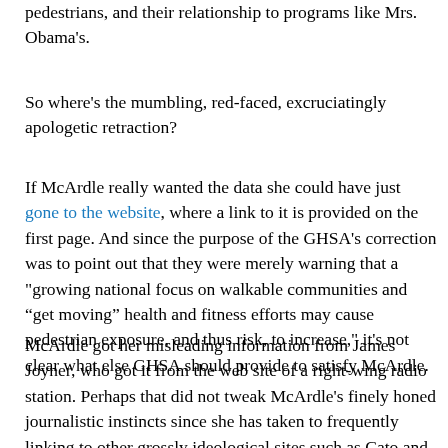pedestrians, and their relationship to programs like Mrs. Obama's.
So where's the mumbling, red-faced, excruciatingly apologetic retraction?
If McArdle really wanted the data she could have just gone to the website, where a link to it is provided on the first page. And since the purpose of the GHSA's correction was to point out that they were merely warning that a "growing national focus on walkable communities and “get moving” health and fitness efforts may cause pedestrian exposure, and thus risk, to increase," it's not clear what else GHSA should provide to satisfy McArdle.
McArdle got her misleading information from James Joyner, who got it from the web site of a right-wing radio station. Perhaps that did not tweak McArdle's finely honed journalistic instincts since she has taken to frequently linking to other grossly ideological sites such as Cato and her husband at Reason, and therefore sees nothing wrong with a